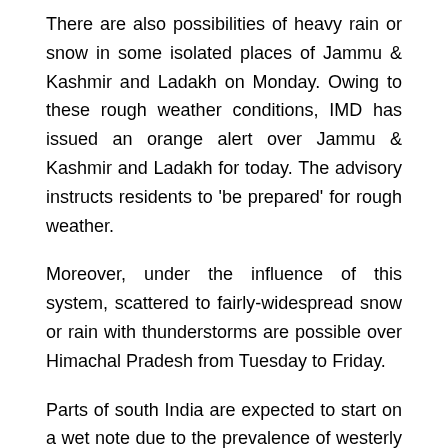There are also possibilities of heavy rain or snow in some isolated places of Jammu & Kashmir and Ladakh on Monday. Owing to these rough weather conditions, IMD has issued an orange alert over Jammu & Kashmir and Ladakh for today. The advisory instructs residents to 'be prepared' for rough weather.
Moreover, under the influence of this system, scattered to fairly-widespread snow or rain with thunderstorms are possible over Himachal Pradesh from Tuesday to Friday.
Parts of south India are expected to start on a wet note due to the prevalence of westerly winds from the Bay of Bengal. It is expected to bring isolated to scattered rain with lightning over south India on Monday and Tuesday.